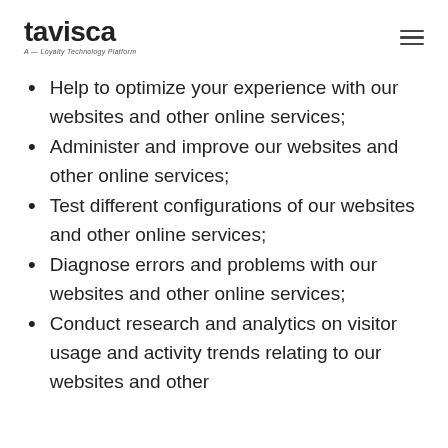tavisca — A Loyalty Technology Platform
Help to optimize your experience with our websites and other online services;
Administer and improve our websites and other online services;
Test different configurations of our websites and other online services;
Diagnose errors and problems with our websites and other online services;
Conduct research and analytics on visitor usage and activity trends relating to our websites and other